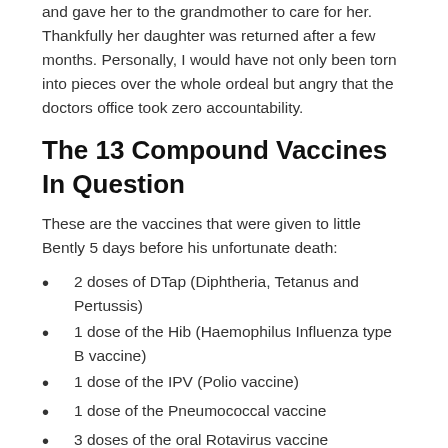and gave her to the grandmother to care for her. Thankfully her daughter was returned after a few months. Personally, I would have not only been torn into pieces over the whole ordeal but angry that the doctors office took zero accountability.
The 13 Compound Vaccines In Question
These are the vaccines that were given to little Bently 5 days before his unfortunate death:
2 doses of DTap (Diphtheria, Tetanus and Pertussis)
1 dose of the Hib (Haemophilus Influenza type B vaccine)
1 dose of the IPV (Polio vaccine)
1 dose of the Pneumococcal vaccine
3 doses of the oral Rotavirus vaccine
1 dose of the Hepatitis B vaccine
1 dose of the oral Polio vaccine